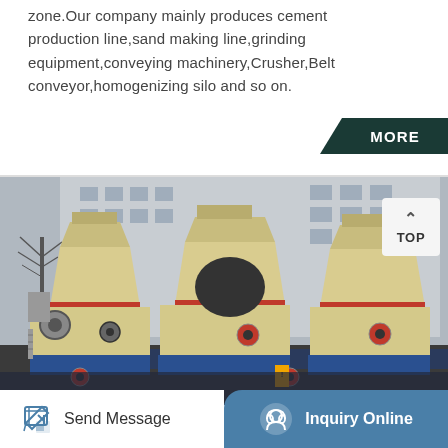zone.Our company mainly produces cement production line,sand making line,grinding equipment,conveying machinery,Crusher,Belt conveyor,homogenizing silo and so on.
[Figure (photo): Industrial crushing/cone crusher machines (multiple units) lined up in a manufacturing yard in front of a large building. The machines are cream/beige colored with blue bases.]
Send Message   Inquiry Online